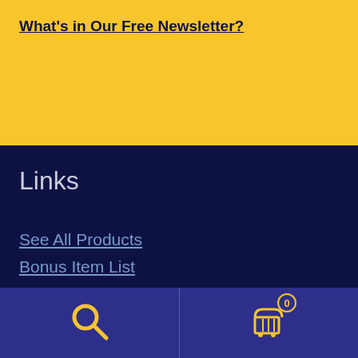What's in Our Free Newsletter?
Links
See All Products
Bonus Item List
Information:
Login/Create Account
Shipping & Returns
Privacy Notice
[Figure (other): Search icon and shopping cart icon with badge showing 0 in bottom navigation bar]